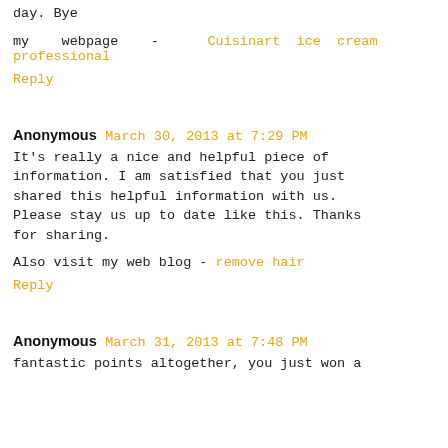day. Bye
my webpage - Cuisinart ice cream professional
Reply
Anonymous March 30, 2013 at 7:29 PM
It's really a nice and helpful piece of information. I am satisfied that you just shared this helpful information with us. Please stay us up to date like this. Thanks for sharing.
Also visit my web blog - remove hair
Reply
Anonymous March 31, 2013 at 7:48 PM
fantastic points altogether, you just won a